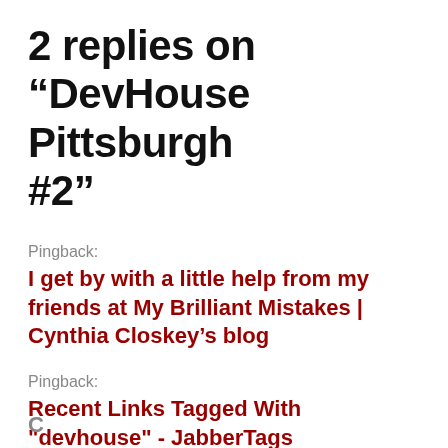2 replies on “DevHouse Pittsburgh #2”
Pingback:
I get by with a little help from my friends at My Brilliant Mistakes | Cynthia Closkey’s blog
Pingback:
Recent Links Tagged With "devhouse" - JabberTags